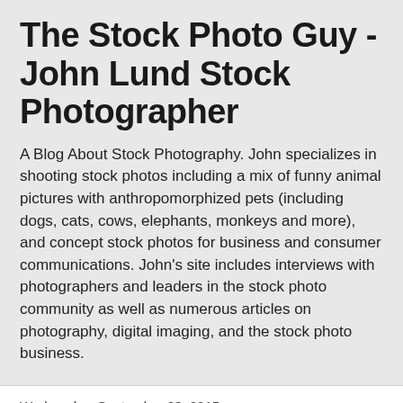The Stock Photo Guy - John Lund Stock Photographer
A Blog About Stock Photography. John specializes in shooting stock photos including a mix of funny animal pictures with anthropomorphized pets (including dogs, cats, cows, elephants, monkeys and more), and concept stock photos for business and consumer communications. John's site includes interviews with photographers and leaders in the stock photo community as well as numerous articles on photography, digital imaging, and the stock photo business.
Wednesday, September 23, 2015
Photography, Entrepreneurship And Kickstarter